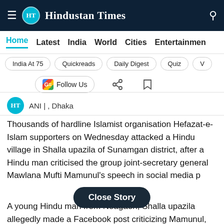Hindustan Times
Home
Latest
India
World
Cities
Entertainment
India At 75
Quickreads
Daily Digest
Quiz
Follow Us
ANI | , Dhaka
Thousands of hardline Islamist organisation Hefazat-e-Islam supporters on Wednesday attacked a Hindu village in Shalla upazila of Sunamgan district, after a Hindu man criticised the group joint-secretary general Mawlana Mufti Mamunul's speech in social media p
Close Story
A young Hindu man from Noagaon, Shalla upazila allegedly made a Facebook post criticizing Mamunul, who opposed the sculpture of Bangabandhu on Tuesday.